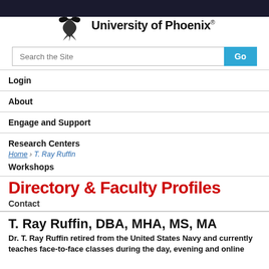[Figure (logo): University of Phoenix logo with phoenix bird mark and text 'University of Phoenix®']
Search the Site
Login
About
Engage and Support
Research Centers
Home › T. Ray Ruffin
Workshops
Directory & Faculty Profiles
Contact
T. Ray Ruffin, DBA, MHA, MS, MA
Dr. T. Ray Ruffin retired from the United States Navy and currently teaches face-to-face classes during the day, evening and online